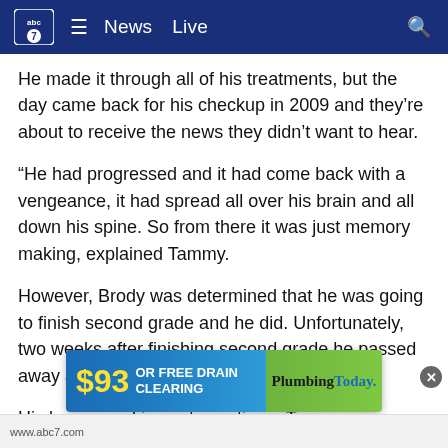abc7 ☰ News  Live 🔍
He made it through all of his treatments, but the day came back for his checkup in 2009 and they're about to receive the news they didn't want to hear.
“He had progressed and it had come back with a vengeance, it had spread all over his brain and all down his spine. So from there it was just memory making, explained Tammy.
However, Brody was determined that he was going to finish second grade and he did. Unfortunately, two weeks after finishing second grade he passed away at the age of eight.
His legacy and impacts continue, Tammy explained, “He asked me one time you know, mom, why do I have this? I didn't k... t told him tha... cial
[Figure (screenshot): Advertisement banner: '$93 OR FREE DRAIN CLEARING' with PlumbingToday logo on green background]